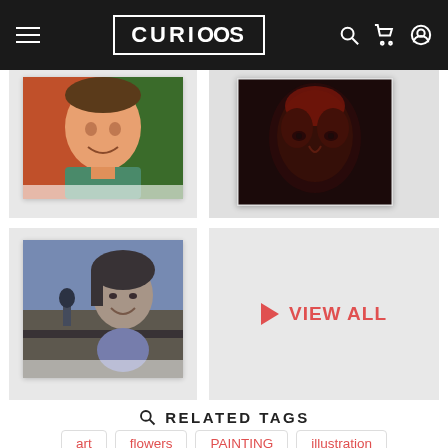CURIOSOS navigation bar with logo, hamburger menu, search, cart, and account icons
[Figure (photo): Top-left product card showing a colorful portrait painting of a man smiling, warm tones of orange, red, green]
[Figure (photo): Top-right product card showing a dark portrait of a face with dramatic lighting and red tones]
[Figure (photo): Bottom-left product card showing a blue-toned sketch/drawing of a smiling woman near a microphone]
[Figure (other): Bottom-right card with VIEW ALL button and a pink/red play triangle arrow]
RELATED TAGS
art
flowers
PAINTING
illustration
pattern
the-neon-demon
YOU MIGHT ALSO LIKE